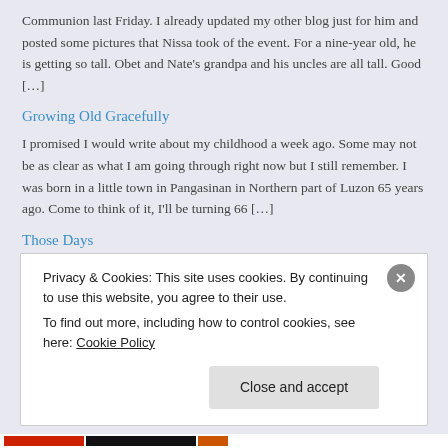Communion last Friday. I already updated my other blog just for him and posted some pictures that Nissa took of the event. For a nine-year old, he is getting so tall. Obet and Nate's grandpa and his uncles are all tall. Good […]
Growing Old Gracefully
I promised I would write about my childhood a week ago. Some may not be as clear as what I am going through right now but I still remember. I was born in a little town in Pangasinan in Northern part of Luzon 65 years ago. Come to think of it, I'll be turning 66 […]
Those Days
Yesterday, I wrote about what life is like these days and some of you who are my faithful followers had those uplifting and inspiring
Privacy & Cookies: This site uses cookies. By continuing to use this website, you agree to their use.
To find out more, including how to control cookies, see here: Cookie Policy
Close and accept